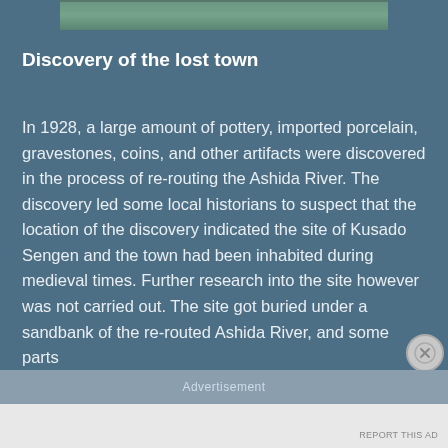[Figure (photo): Partial photograph of a natural outdoor scene, cropped at the top of the page]
Discovery of the lost town
In 1928, a large amount of pottery, imported porcelain, gravestones, coins, and other artifacts were discovered in the process of re-routing the Ashida River. The discovery led some local historians to suspect that the location of the discovery indicated the site of Kusado Sengen and the town had been inhabited during medieval times. Further research into the site however was not carried out. The site got buried under a sandbank of the re-routed Ashida River, and some parts
Advertisement